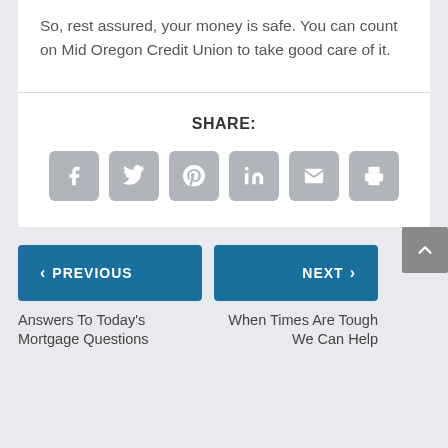So, rest assured, your money is safe. You can count on Mid Oregon Credit Union to take good care of it.
SHARE:
[Figure (infographic): Row of 6 social share icon buttons: Facebook, Twitter, Pinterest, LinkedIn, Email, Print — all in grey rounded square buttons with white icons]
< PREVIOUS
NEXT >
Answers To Today's Mortgage Questions
When Times Are Tough We Can Help